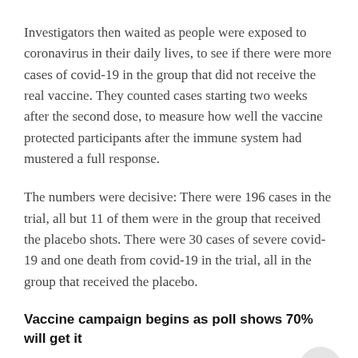Investigators then waited as people were exposed to coronavirus in their daily lives, to see if there were more cases of covid-19 in the group that did not receive the real vaccine. They counted cases starting two weeks after the second dose, to measure how well the vaccine protected participants after the immune system had mustered a full response.
The numbers were decisive: There were 196 cases in the trial, all but 11 of them were in the group that received the placebo shots. There were 30 cases of severe covid-19 and one death from covid-19 in the trial, all in the group that received the placebo.
Vaccine campaign begins as poll shows 70% will get it
America launched a massive vaccination campaign to curb the spread of COVID-19 this week.